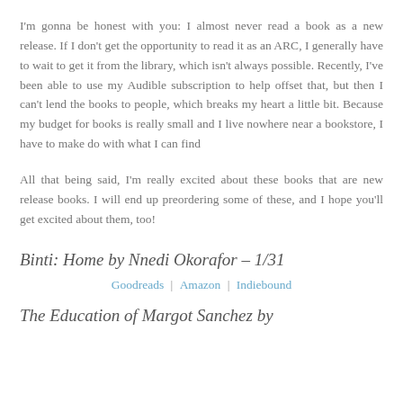I'm gonna be honest with you: I almost never read a book as a new release. If I don't get the opportunity to read it as an ARC, I generally have to wait to get it from the library, which isn't always possible. Recently, I've been able to use my Audible subscription to help offset that, but then I can't lend the books to people, which breaks my heart a little bit. Because my budget for books is really small and I live nowhere near a bookstore, I have to make do with what I can find
All that being said, I'm really excited about these books that are new release books. I will end up preordering some of these, and I hope you'll get excited about them, too!
Binti: Home by Nnedi Okorafor – 1/31
Goodreads | Amazon | Indiebound
The Education of Margot Sanchez by